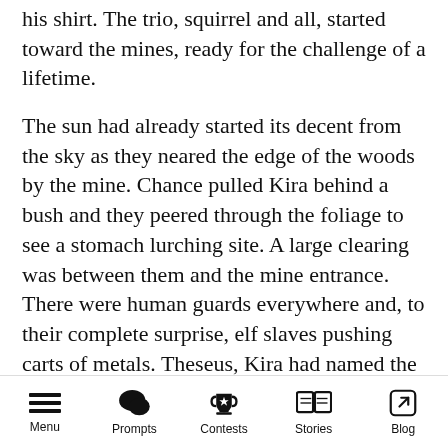his shirt. The trio, squirrel and all, started toward the mines, ready for the challenge of a lifetime.
The sun had already started its decent from the sky as they neared the edge of the woods by the mine. Chance pulled Kira behind a bush and they peered through the foliage to see a stomach lurching site. A large clearing was between them and the mine entrance. There were human guards everywhere and, to their complete surprise, elf slaves pushing carts of metals. Theseus, Kira had named the squirrel while they were walking, covered his eyes with his tiny paws and chittered in horror.
“This is a little crazy,” That sly grin crept onto
Menu   Prompts   Contests   Stories   Blog